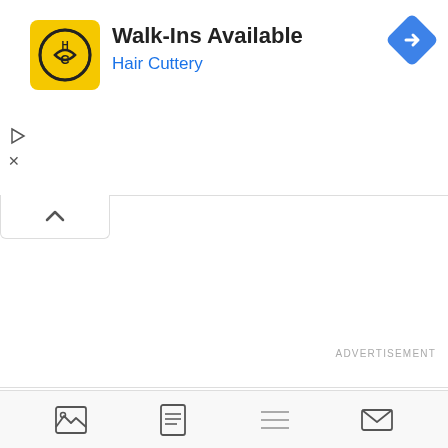[Figure (screenshot): Advertisement banner for Hair Cuttery showing logo, 'Walk-Ins Available' text, blue navigation arrow icon, and ad controls (play/close buttons)]
[Figure (screenshot): UI collapse tab with upward chevron arrow]
ADVERTISEMENT
[Figure (screenshot): Embed button with code brackets icon and 'Embed' text]
[Figure (screenshot): Bottom toolbar with four icons: image/chart icon, document icon, list icon, envelope/mail icon]